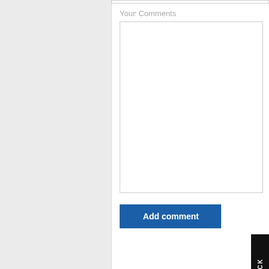Your Comments
[Figure (screenshot): A text area (white empty input box) for entering comments]
[Figure (screenshot): Blue 'Add comment' button]
[Figure (screenshot): Vertical dark 'FEEDBACK' tab on the right edge]
[Figure (screenshot): Blue horizontal separator line]
Follow Us!
[Figure (illustration): Email/at-sign icon in a steel blue rounded square]
Follow Us!
[Figure (screenshot): Gray scroll-to-top button with upward arrow]
[Figure (screenshot): Partial steel blue social icon at bottom]